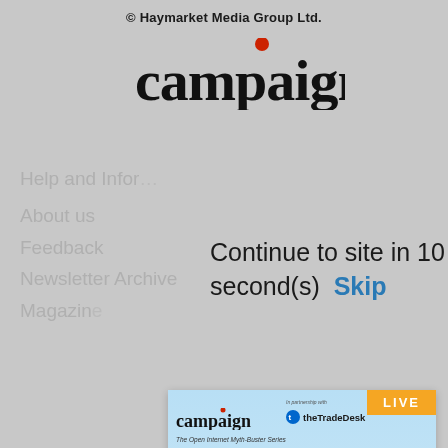© Haymarket Media Group Ltd.
[Figure (logo): Campaign magazine logo with red dot over the letter i]
Help and Information
About us
Feedback
Newsletter Archive
Magazine
Continue to site in 10 second(s)  Skip
We use cookies and to... please... website... terms...
[Figure (screenshot): Campaign and theTradeDesk advertisement for 'Optimise your customer journey with a seamless omnichannel strategy' webinar. Live badge in orange top right. Wednesday 21st September | 3:30pm - 6:30pm | Hong Kong. Register button in orange. Photo of five smiling young people at bottom.]